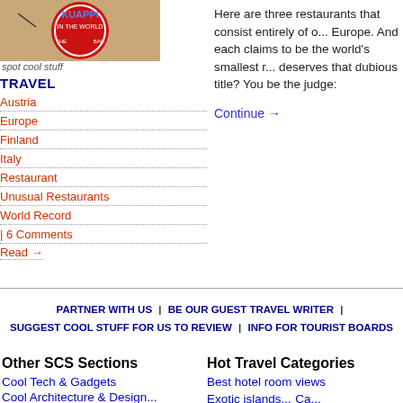[Figure (photo): Circular red badge/logo with text 'KUAPPI' and 'IN THE WORLD' visible, on a wooden surface]
spot cool stuff
TRAVEL
Austria
Europe
Finland
Italy
Restaurant
Unusual Restaurants
World Record
| 6 Comments
Read →
Here are three restaurants that consist entirely of one table in Europe. And each claims to be the world's smallest restaurant. Which deserves that dubious title? You be the judge:
Continue →
PARTNER WITH US | BE OUR GUEST TRAVEL WRITER | SUGGEST COOL STUFF FOR US TO REVIEW | INFO FOR TOURIST BOARDS
Other SCS Sections
Cool Tech & Gadgets
Hot Travel Categories
Best hotel room views